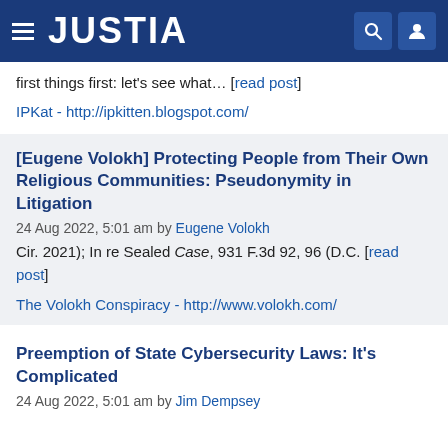JUSTIA
first things first: let's see what... [read post]
IPKat - http://ipkitten.blogspot.com/
[Eugene Volokh] Protecting People from Their Own Religious Communities: Pseudonymity in Litigation
24 Aug 2022, 5:01 am by Eugene Volokh
Cir. 2021); In re Sealed Case, 931 F.3d 92, 96 (D.C. [read post]
The Volokh Conspiracy - http://www.volokh.com/
Preemption of State Cybersecurity Laws: It's Complicated
24 Aug 2022, 5:01 am by Jim Dempsey